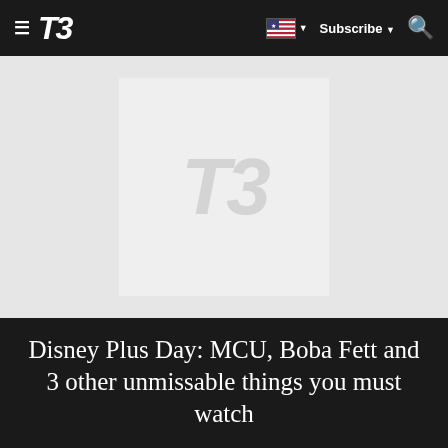T3 — Subscribe
[Figure (logo): T3 magazine logo watermark placeholder image in light gray box]
Disney Plus Day: MCU, Boba Fett and 3 other unmissable things you must watch
ENTERTAINMENT
5 clues that Tom Holland's Spider-Man is leaving the MCU